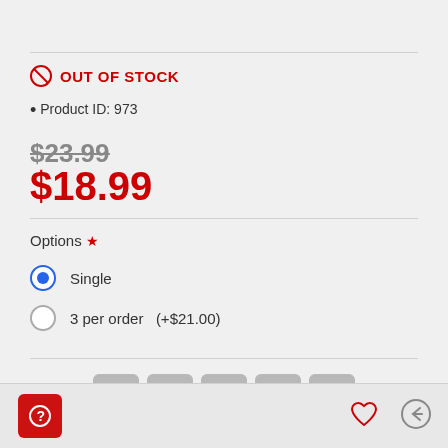OUT OF STOCK
Product ID: 973
$23.99 (strikethrough original price)
$18.99 (sale price)
Options ★
Single (selected)
3 per order  (+$21.00)
[Figure (infographic): Social share buttons row: Facebook, Twitter, Pinterest, Email, Plus]